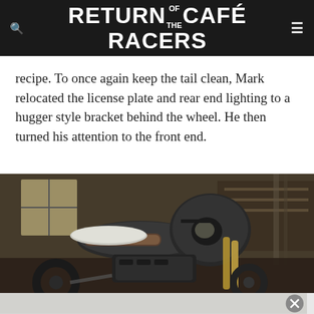RETURN OF THE CAFÉ RACERS
recipe. To once again keep the tail clean, Mark relocated the license plate and rear end lighting to a hugger style bracket behind the wheel. He then turned his attention to the front end.
[Figure (photo): Custom cafe racer motorcycle with matte black bodywork and gold forks, photographed in a workshop/garage setting with wooden walls and workbenches in the background.]
[Figure (photo): Partial advertisement or secondary image strip at the bottom of the page with a close (X) button on the right side.]